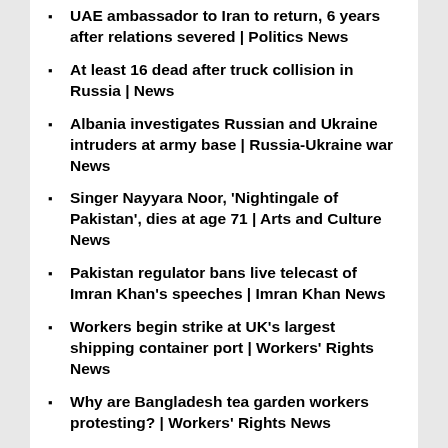UAE ambassador to Iran to return, 6 years after relations severed | Politics News
At least 16 dead after truck collision in Russia | News
Albania investigates Russian and Ukraine intruders at army base | Russia-Ukraine war News
Singer Nayyara Noor, 'Nightingale of Pakistan', dies at age 71 | Arts and Culture News
Pakistan regulator bans live telecast of Imran Khan's speeches | Imran Khan News
Workers begin strike at UK's largest shipping container port | Workers' Rights News
Why are Bangladesh tea garden workers protesting? | Workers' Rights News
Darya Dugina: Daughter of Putin ally killed in Moscow car blast | Russia-Ukraine war News
Leader of failed 2005 Peruvian uprising released from prison | Politics News
Photos: Algeria reels from deadly wildfires | Climate Crisis News
Somali group al-Shabab targets Mogadishu hotel in daring attack | Conflict News
The deadly virus Nigerians fear more than COVID-19: